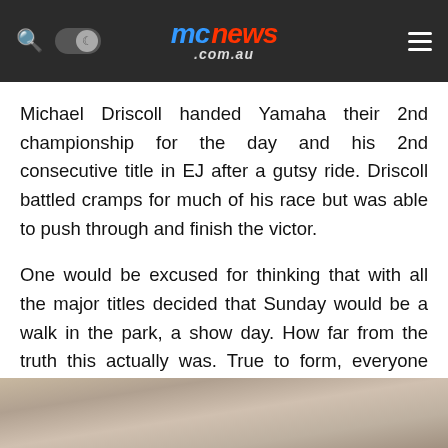mcnews.com.au
Michael Driscoll handed Yamaha their 2nd championship for the day and his 2nd consecutive title in EJ after a gutsy ride. Driscoll battled cramps for much of his race but was able to push through and finish the victor.
One would be excused for thinking that with all the major titles decided that Sunday would be a walk in the park, a show day. How far from the truth this actually was. True to form, everyone turned up to race and there was no taking it easy with each rider pushing to the very end. To come all this way not to finish it off hard and fast would seem a waste.
[Figure (photo): Partial photo visible at the bottom of the page, appears to show a motorcycle rider or related scene, mostly cropped out.]